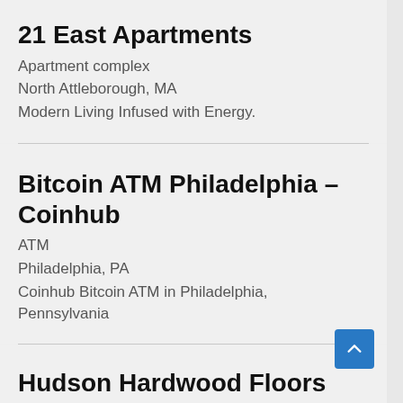21 East Apartments
Apartment complex
North Attleborough, MA
Modern Living Infused with Energy.
Bitcoin ATM Philadelphia – Coinhub
ATM
Philadelphia, PA
Coinhub Bitcoin ATM in Philadelphia, Pennsylvania
Hudson Hardwood Floors